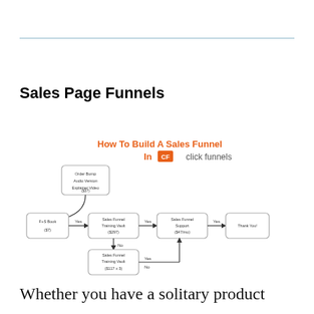Sales Page Funnels
[Figure (flowchart): Flowchart titled 'How To Build A Sales Funnel In ClickFunnels' showing a sales funnel flow: Order Bump (Audio Version Explainer Video $37) connects down to F+S Book ($7), which goes Yes to Sales Funnel Training Vault ($297), which goes Yes to Sales Funnel Support ($47/mo), which goes Yes to Thank You. From Sales Funnel Training Vault, No arrow goes down to Sales Funnel Training Vault ($117 x 3), which has Yes/No arrows looping back to Sales Funnel Support.]
Whether you have a solitary product